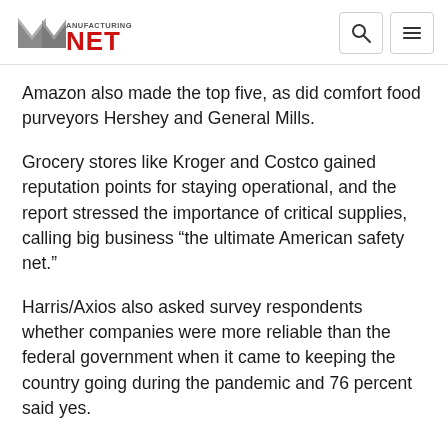Manufacturing.net
Amazon also made the top five, as did comfort food purveyors Hershey and General Mills.
Grocery stores like Kroger and Costco gained reputation points for staying operational, and the report stressed the importance of critical supplies, calling big business “the ultimate American safety net.”
Harris/Axios also asked survey respondents whether companies were more reliable than the federal government when it came to keeping the country going during the pandemic and 76 percent said yes.